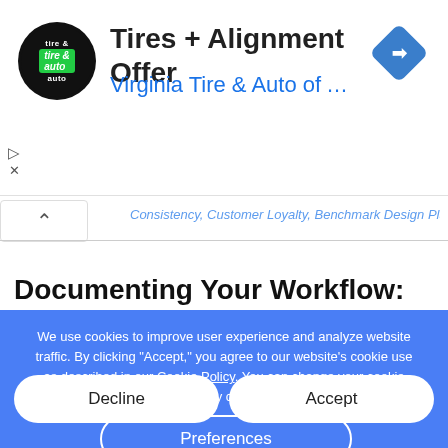[Figure (logo): Virginia Tire & Auto circular logo with green badge]
Tires + Alignment Offer
Virginia Tire & Auto of Ashburn …
[Figure (illustration): Blue diamond-shaped navigation/directions icon with turn arrow]
… Consistency, Customer Loyalty, Benchmark Design Planning
Documenting Your Workflow: How and Why
We use cookies to improve user experience and analyze website traffic. By clicking "Accept," you agree to our website's cookie use as described in our Cookie Policy. You can change your cookie settings at any time by clicking "Preferences."
Decline
Accept
Preferences